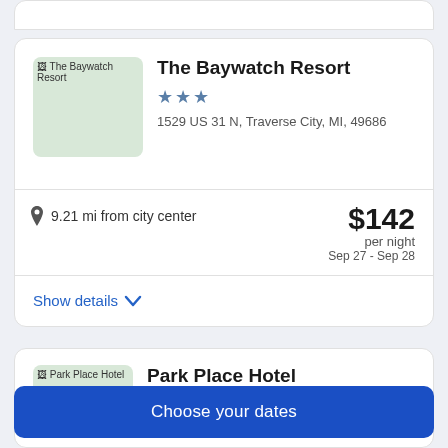[Figure (screenshot): Partial hotel card at top of page (cropped from above)]
The Baywatch Resort
★★★
1529 US 31 N, Traverse City, MI, 49686
9.21 mi from city center
$142 per night Sep 27 - Sep 28
Show details
Park Place Hotel
Choose your dates